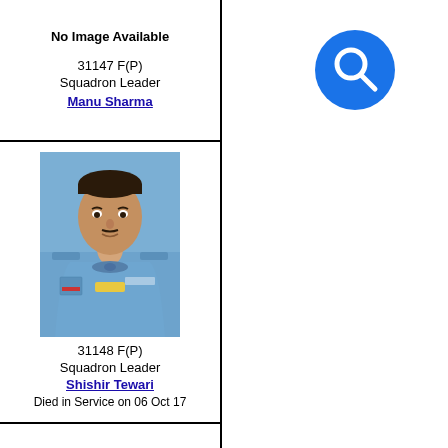[Figure (other): No image available placeholder for Squadron Leader Manu Sharma]
31147 F(P)
Squadron Leader
Manu Sharma
[Figure (photo): Photo of Squadron Leader Shishir Tewari in Indian Air Force uniform (blue)]
31148 F(P)
Squadron Leader
Shishir Tewari
Died in Service on 06 Oct 17
[Figure (other): No image available placeholder for record 31149 F(P)]
31149 F(P)
[Figure (other): Blue search icon in top right area]